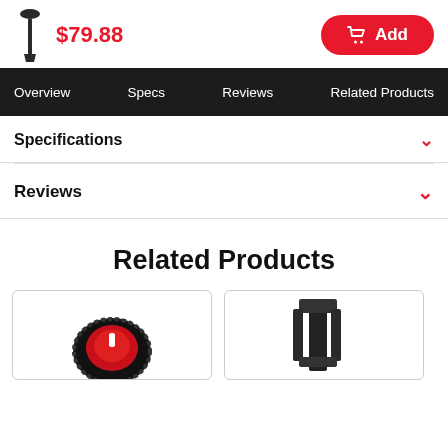[Figure (photo): Small black product (sprinkler head or spike) thumbnail image]
$79.88
Add
Overview  Specs  Reviews  Related Products
Specifications
Reviews
Related Products
[Figure (photo): Red and black circular dial/knob product]
[Figure (photo): Black metal bracket or mount product]